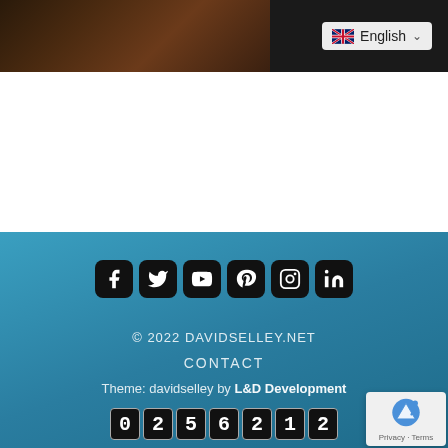[Figure (screenshot): Top bar with dark background showing partial hair/person photo on left and English language selector on right]
[Figure (infographic): Social media icons row: Facebook, Twitter, YouTube, Pinterest, Instagram, LinkedIn - white icons on black rounded square backgrounds]
© 2022 DAVIDSELLEY.NET
CONTACT
Theme: davidselley by L&D Development
[Figure (other): Visit counter showing digits: 0 2 5 6 2 1 2]
[Figure (other): reCAPTCHA badge with Privacy and Terms links]